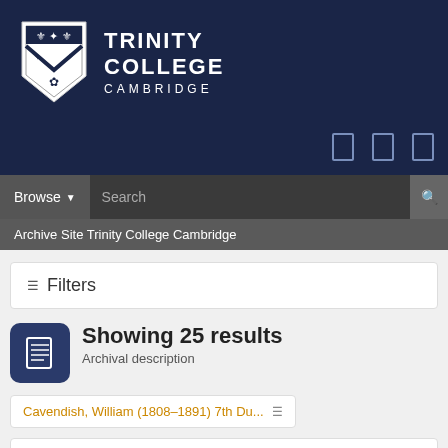[Figure (logo): Trinity College Cambridge logo with shield and text]
Browse   Search
Archive Site Trinity College Cambridge
Filters
Showing 25 results
Archival description
Cavendish, William (1808-1891) 7th Du...
Advanced search options